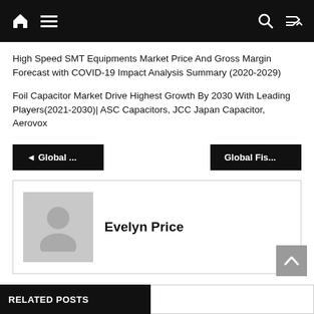Navigation bar with home icon, hamburger menu, search icon, and shuffle icon
High Speed SMT Equipments Market Price And Gross Margin Forecast with COVID-19 Impact Analysis Summary (2020-2029)
Foil Capacitor Market Drive Highest Growth By 2030 With Leading Players(2021-2030)| ASC Capacitors, JCC Japan Capacitor, Aerovox
◄ Global ...
Global Fis...
Evelyn Price
RELATED POSTS